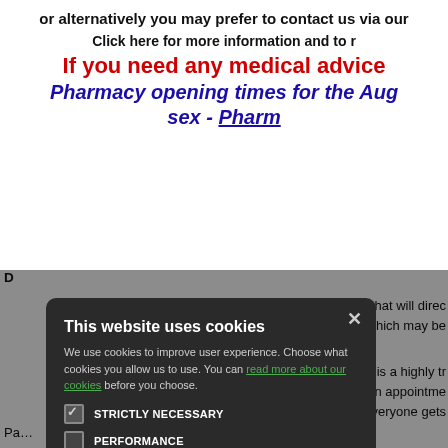or alternatively you may prefer to contact us via our
Click here for more information and to r
If you need any medical advice
Pharmacy opening times for the Aug
sex - Pharm
D
W... 2022, that will direc... htment, which may be... vi...
W... rmacist is a highly tra... tr... er you an appointme... de... e that everyone gets... h...
W... erience of using this... th... will be advised how... th...
[Figure (screenshot): Cookie consent modal dialog on a dark background overlay. Title: 'This website uses cookies'. Body text about improving user experience and cookie choices, with a link 'read more about our cookies'. Checkboxes: STRICTLY NECESSARY (checked), PERFORMANCE, TARGETING, FUNCTIONALITY. Buttons: ACCEPT ALL (green), DECLINE ALL (outline).]
Pa... macy Information